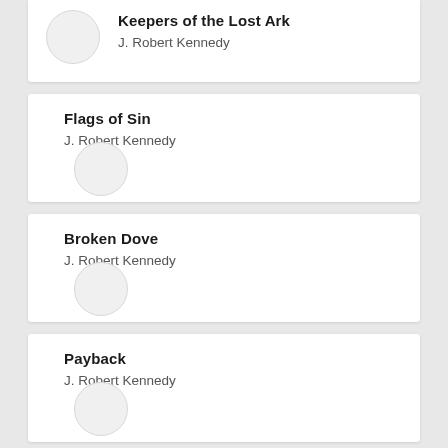Keepers of the Lost Ark
J. Robert Kennedy
Flags of Sin
J. Robert Kennedy
Broken Dove
J. Robert Kennedy
Payback
J. Robert Kennedy
Death to America